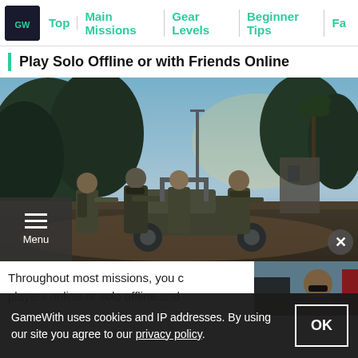Top | Main Missions | Gear Levels | Beginner Tips | Fa
Play Solo Offline or with Friends Online
[Figure (screenshot): Screenshot of a co-op tactical shooter game showing four armed soldiers in military gear standing in front of a military vehicle in a jungle/urban environment at dusk. A menu overlay is visible in the bottom-left corner and a close button in the bottom-right.]
Throughout most missions, you can play with up to 4 players online or solo offline and
[Figure (screenshot): Partial thumbnail screenshot showing a person wearing sunglasses in what appears to be a vehicle or outdoor setting.]
GameWith uses cookies and IP addresses. By using our site you agree to our privacy policy.